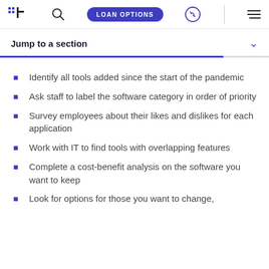LOAN OPTIONS
Jump to a section
Identify all tools added since the start of the pandemic
Ask staff to label the software category in order of priority
Survey employees about their likes and dislikes for each application
Work with IT to find tools with overlapping features
Complete a cost-benefit analysis on the software you want to keep
Look for options for those you want to change,